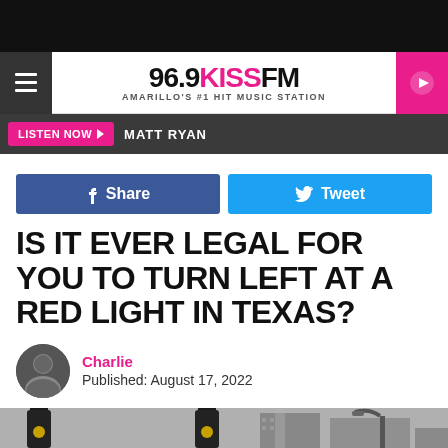96.9 KISS FM — AMARILLO'S #1 HIT MUSIC STATION
LISTEN NOW  MATT RYAN
[Figure (other): Facebook Share button and Twitter Tweet button]
IS IT EVER LEGAL FOR YOU TO TURN LEFT AT A RED LIGHT IN TEXAS?
Charlie
Published: August 17, 2022
[Figure (photo): Street photo showing traffic lights at an intersection]